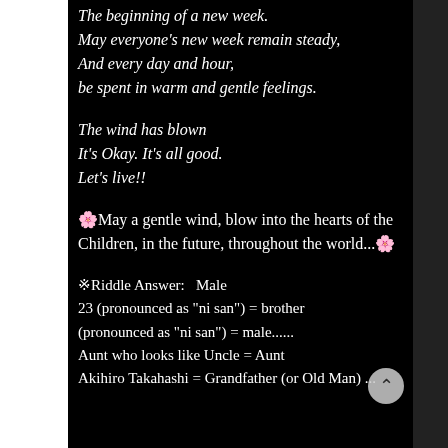The beginning of a new week.
May everyone's new week remain steady,
And every day and hour,
be spent in warm and gentle feelings.
The wind has blown
It's Okay. It's all good.
Let's live!!
🌸May a gentle wind, blow into the hearts of the Children, in the future, throughout the world...🌸
※Riddle Answer:   Male
23 (pronounced as "ni san") = brother
(pronounced as "ni san") = male......
Aunt who looks like Uncle = Aunt
Akihiro Takahashi = Grandfather (or Old Man) ...